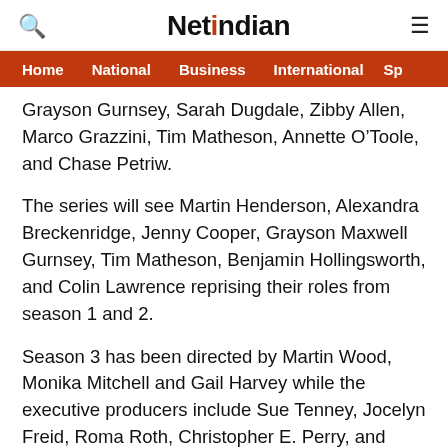NetIndian
Home  National  Business  International  Sp
Grayson Gurnsey, Sarah Dugdale, Zibby Allen, Marco Grazzini, Tim Matheson, Annette O'Toole, and Chase Petriw.
The series will see Martin Henderson, Alexandra Breckenridge, Jenny Cooper, Grayson Maxwell Gurnsey, Tim Matheson, Benjamin Hollingsworth, and Colin Lawrence reprising their roles from season 1 and 2.
Season 3 has been directed by Martin Wood, Monika Mitchell and Gail Harvey while the executive producers include Sue Tenney, Jocelyn Freid, Roma Roth, Christopher E. Perry, and Robyn Carr.